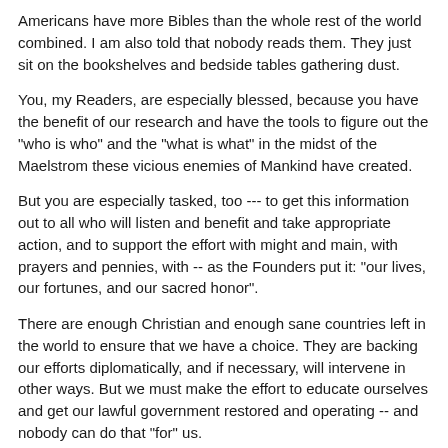Americans have more Bibles than the whole rest of the world combined. I am also told that nobody reads them. They just sit on the bookshelves and bedside tables gathering dust.
You, my Readers, are especially blessed, because you have the benefit of our research and have the tools to figure out the "who is who" and the "what is what" in the midst of the Maelstrom these vicious enemies of Mankind have created.
But you are especially tasked, too --- to get this information out to all who will listen and benefit and take appropriate action, and to support the effort with might and main, with prayers and pennies, with -- as the Founders put it: "our lives, our fortunes, and our sacred honor".
There are enough Christian and enough sane countries left in the world to ensure that we have a choice. They are backing our efforts diplomatically, and if necessary, will intervene in other ways. But we must make the effort to educate ourselves and get our lawful government restored and operating -- and nobody can do that "for" us.
We have to take the responsibility and do the work ourselves.